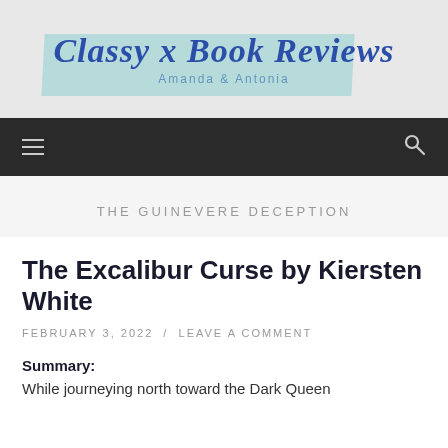[Figure (logo): Classy x Book Reviews logo with teal brush stroke background and cursive blue text, subtitle 'Amanda & Antonia']
THE GUINEVERE DECEPTION
The Excalibur Curse by Kiersten White
FEBRUARY 3, 2022 / LEAVE A COMMENT
Summary:
While journeying north toward the Dark Queen